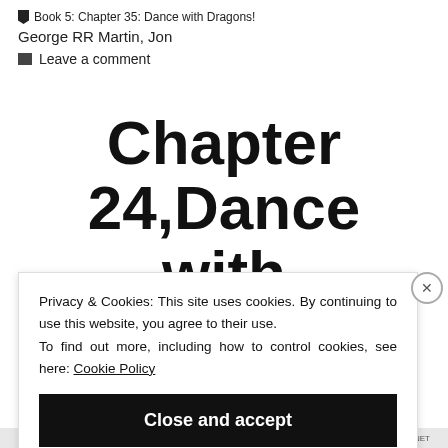Book 5: Chapter 35: Dance with Dragons!
George RR Martin, Jon
Leave a comment
Chapter 24,Dance with
Privacy & Cookies: This site uses cookies. By continuing to use this website, you agree to their use.
To find out more, including how to control cookies, see here: Cookie Policy
Close and accept